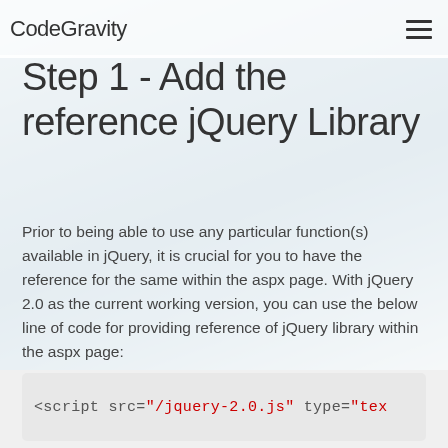CodeGravity
Step 1 - Add the reference jQuery Library
Prior to being able to use any particular function(s) available in jQuery, it is crucial for you to have the reference for the same within the aspx page. With jQuery 2.0 as the current working version, you can use the below line of code for providing reference of jQuery library within the aspx page:
<script src="/jquery-2.0.js" type="tex